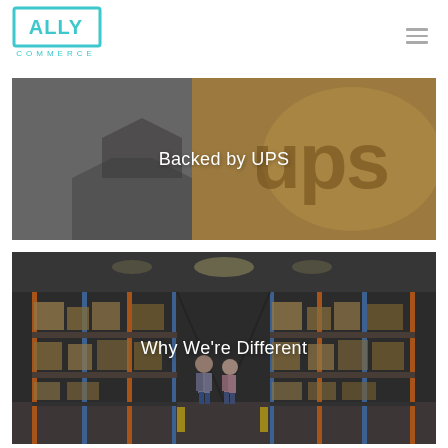[Figure (logo): Ally Commerce logo — rectangular border with 'ALLY' in teal and 'COMMERCE' text below]
[Figure (photo): Close-up photo of UPS branding/logo on a brown surface with text overlay 'Backed by UPS']
[Figure (photo): Warehouse interior photo showing tall shelving racks with two workers walking away from camera, with text overlay 'Why We're Different']